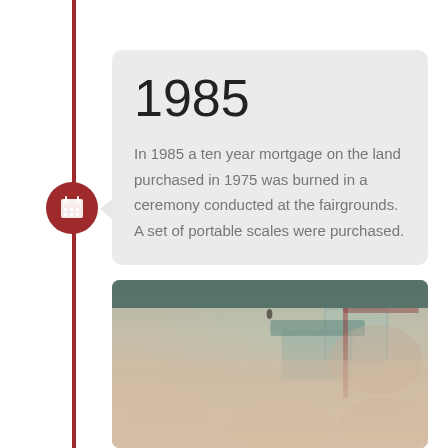1985
In 1985 a ten year mortgage on the land purchased in 1975 was burned in a ceremony conducted at the fairgrounds. A set of portable scales were purchased.
[Figure (photo): A vintage photograph of a fairgrounds scene showing crowds of people watching an event, with a green-roofed building in the background and people in the foreground engaged in activity, pink/warm color cast typical of aged photography.]